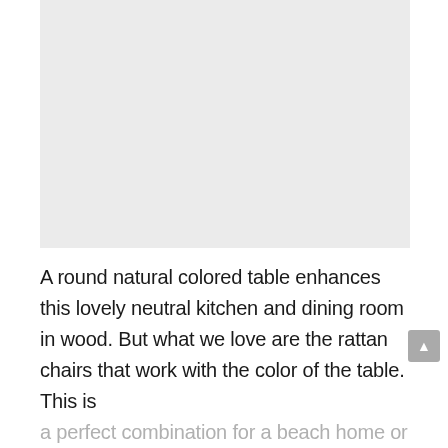[Figure (photo): A photo of a round natural colored wooden table with rattan chairs in a neutral kitchen and dining room setting]
A round natural colored table enhances this lovely neutral kitchen and dining room in wood. But what we love are the rattan chairs that work with the color of the table. This is a perfect combination for a beach home or transitional farmhouse-style home.